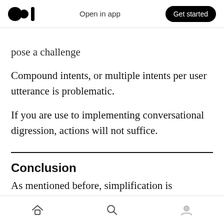Open in app  Get started
Compound intents per user utterance will also pose a challenge
Compound intents, or multiple intents per user utterance is problematic.
If you are use to implementing conversational digression, actions will not suffice.
Conclusion
As mentioned before, simplification is important,
Home  Search  Profile